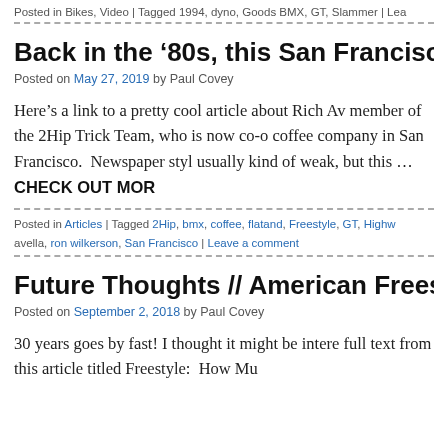Posted in Bikes, Video | Tagged 1994, dyno, Goods BMX, GT, Slammer | Lea
Back in the ‘80s, this San Francisco Coffee Roaste
Posted on May 27, 2019 by Paul Covey
Here’s a link to a pretty cool article about Rich Av member of the 2Hip Trick Team, who is now co-o coffee company in San Francisco.  Newspaper styl usually kind of weak, but this … CHECK OUT MOR
Posted in Articles | Tagged 2Hip, bmx, coffee, flatand, Freestyle, GT, Highw avella, ron wilkerson, San Francisco | Leave a comment
Future Thoughts // American Freestyler, August 1
Posted on September 2, 2018 by Paul Covey
30 years goes by fast! I thought it might be intere full text from this article titled Freestyle:  How Mu